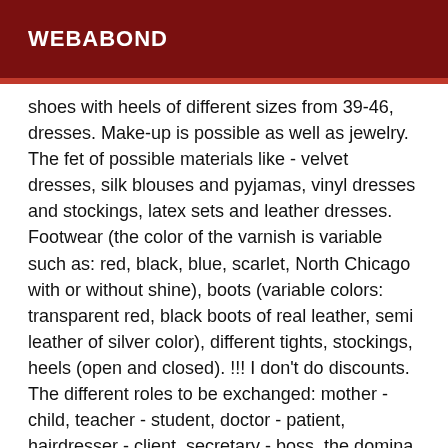WEBABOND
shoes with heels of different sizes from 39-46, dresses. Make-up is possible as well as jewelry. The fet of possible materials like - velvet dresses, silk blouses and pyjamas, vinyl dresses and stockings, latex sets and leather dresses. Footwear (the color of the varnish is variable such as: red, black, blue, scarlet, North Chicago with or without shine), boots (variable colors: transparent red, black boots of real leather, semi leather of silver color), different tights, stockings, heels (open and closed). !!! I don't do discounts. The different roles to be exchanged: mother - child, teacher - student, doctor - patient, hairdresser - client, secretary - boss, the domina - dominated, the fiancée - the fiancé, the student - the teacher, the mistress - the submissive, the authoritarian woman - a servant . I am an ideal woman for your first experience, emotional AND gentle, authoritative and strict. Don't be afraid to enter a world of discoveries and ...